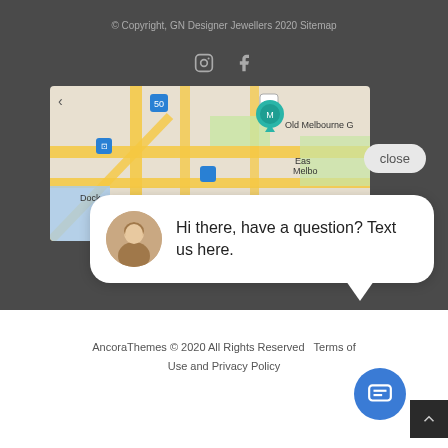© Copyright, GN Designer Jewellers 2020 Sitemap
[Figure (map): Google Maps view showing Melbourne area including Old Melbourne Gaol, East Melbourne, Docklands]
[Figure (screenshot): Chat bubble popup with avatar showing: Hi there, have a question? Text us here.]
AncoraThemes © 2020 All Rights Reserved  Terms of Use and Privacy Policy